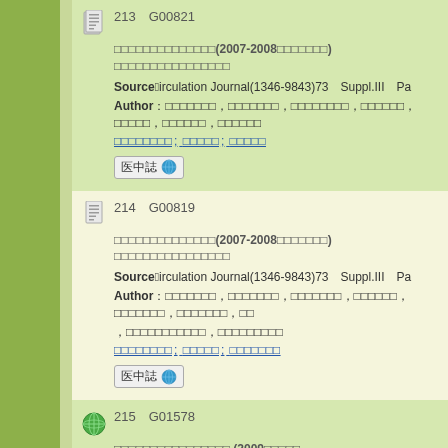213　G00821 [Japanese title] (2007-2008[Japanese]) [Japanese text] Source：Circulation Journal(1346-9843)73　Suppl.III　Pa... Author：[Japanese authors] [Japanese links] 医中誌
214　G00819 [Japanese title] (2007-2008[Japanese]) [Japanese text] Source：Circulation Journal(1346-9843)73　Suppl.III　Pa... Author：[Japanese authors] [Japanese links] 医中誌
215　G01578 [Japanese title] (2009[Japanese]) [Japanese date] Author：[Japanese author] [Japanese links]